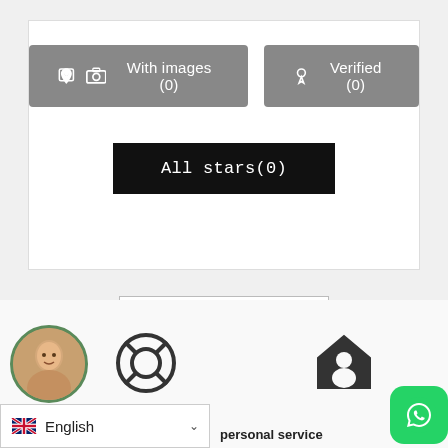[Figure (screenshot): UI filter buttons: 'With images (0)' and 'Verified (0)' gray buttons, 'All stars(0)' black button inside a white bordered box]
[Figure (screenshot): 'Write Your Review' button with border]
[Figure (screenshot): USD green button on right edge]
[Figure (screenshot): Plus button circle]
[Figure (screenshot): Bottom bar with avatar photo, help icon, home/person icon, WhatsApp button, English language selector, and 'personal service' text]